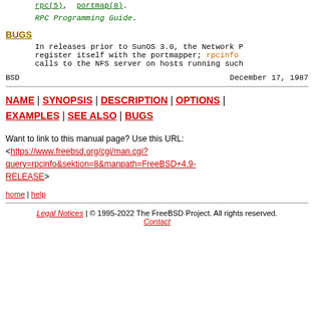rpc(5), portmap(8).
RPC Programming Guide.
BUGS
In releases prior to SunOS 3.0, the Network P register itself with the portmapper; rpcinfo calls to the NFS server on hosts running such
BSD                         December 17, 1987
NAME | SYNOPSIS | DESCRIPTION | OPTIONS | EXAMPLES | SEE ALSO | BUGS
Want to link to this manual page? Use this URL: <https://www.freebsd.org/cgi/man.cgi?query=rpcinfo&sektion=8&manpath=FreeBSD+4.9-RELEASE>
home | help
Legal Notices | © 1995-2022 The FreeBSD Project. All rights reserved. Contact